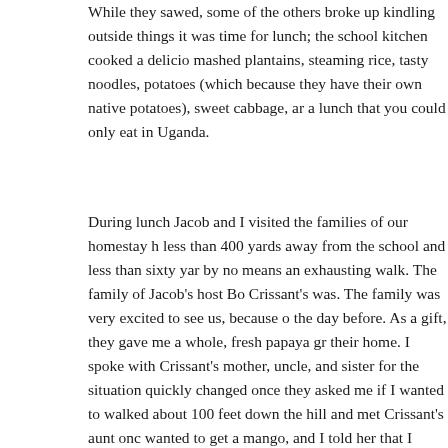While they sawed, some of the others broke up kindling outside things it was time for lunch; the school kitchen cooked a delicious mashed plantains, steaming rice, tasty noodles, potatoes (which because they have their own native potatoes), sweet cabbage, and a lunch that you could only eat in Uganda.
During lunch Jacob and I visited the families of our homestay hosts, less than 400 yards away from the school and less than sixty yards by no means an exhausting walk. The family of Jacob's host Bo Crissant's was. The family was very excited to see us, because of the day before. As a gift, they gave me a whole, fresh papaya grown their home. I spoke with Crissant's mother, uncle, and sister for the situation quickly changed once they asked me if I wanted to walked about 100 feet down the hill and met Crissant's aunt once wanted to get a mango, and I told her that I would, but I didn't run into. She pointed to the sky and said "There's a mango." I looked standing right beneath the mango tree. She told me to climb up and person she's seen (I'm 6'2", but many of the people here aren't mangoes were about twenty feet in the air, but the tree looked fi